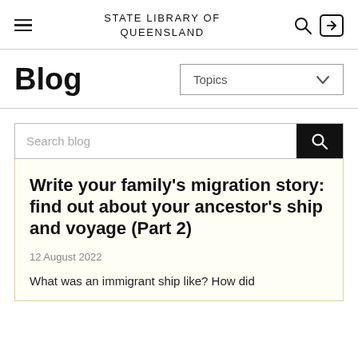STATE LIBRARY OF QUEENSLAND
Blog
Topics
Search blog
Write your family’s migration story: find out about your ancestor’s ship and voyage (Part 2)
12 August 2022
What was an immigrant ship like? How did